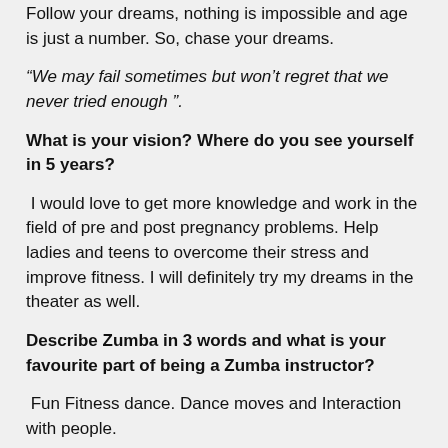Follow your dreams, nothing is impossible and age is just a number. So, chase your dreams.
“We may fail sometimes but won’t regret that we never tried enough ”.
What is your vision? Where do you see yourself in 5 years?
I would love to get more knowledge and work in the field of pre and post pregnancy problems. Help ladies and teens to overcome their stress and improve fitness. I will definitely try my dreams in the theater as well.
Describe Zumba in 3 words and what is your favourite part of being a Zumba instructor?
Fun Fitness dance. Dance moves and Interaction with people.